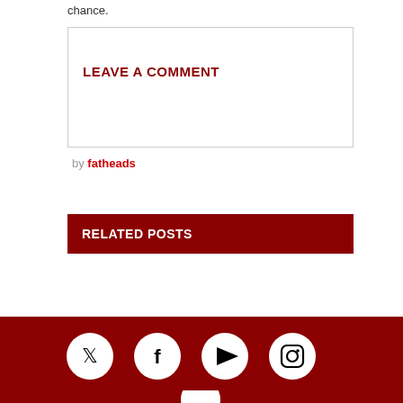chance.
LEAVE A COMMENT
by fatheads
RELATED POSTS
[Figure (infographic): Footer bar with social media icons: Twitter, Facebook, YouTube, Instagram circles on dark red background, plus partial circle at bottom]